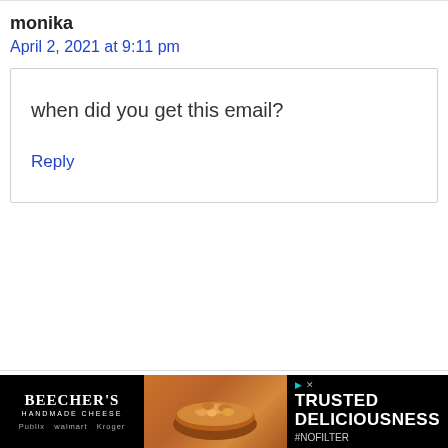monika
April 2, 2021 at 9:11 pm
when did you get this email?
Reply
[Figure (photo): Advertisement for Beecher's Handmade Cheese featuring a bowl of macaroni and cheese with the text 'TRUSTED DELICIOUSNESS #NOFILTER']